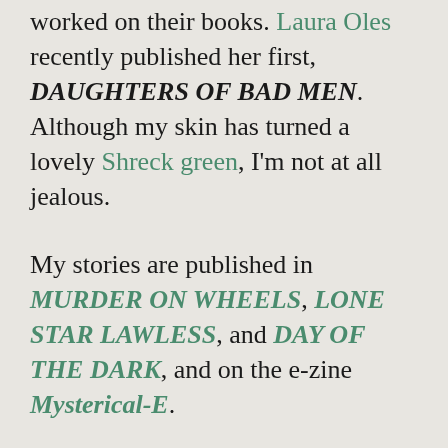worked on their books. Laura Oles recently published her first, DAUGHTERS OF BAD MEN. Although my skin has turned a lovely Shreck green, I'm not at all jealous.
My stories are published in MURDER ON WHEELS, LONE STAR LAWLESS, and DAY OF THE DARK, and on the e-zine Mysterical-E.
My friends know me as Kathy, but I now write under the name M. K. Waller. The CFO of Coca-Cola is also named Kathy Waller, and she keeps coming up first in